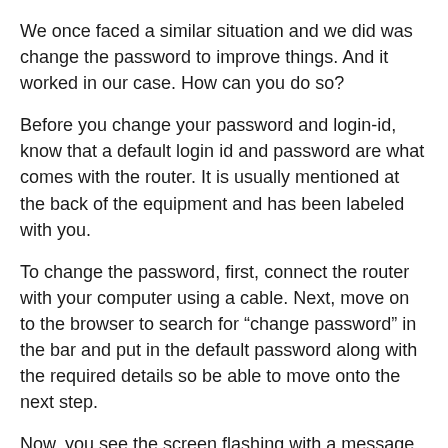We once faced a similar situation and we did was change the password to improve things. And it worked in our case. How can you do so?
Before you change your password and login-id, know that a default login id and password are what comes with the router. It is usually mentioned at the back of the equipment and has been labeled with you.
To change the password, first, connect the router with your computer using a cable. Next, move on to the browser to search for “change password” in the bar and put in the default password along with the required details so be able to move onto the next step.
Now, you see the screen flashing with a message asking you to jot in the new id and password. Re-write both to confirm the new details and you’ve successfully changed them.
Now, be wise to not share the information with others, or